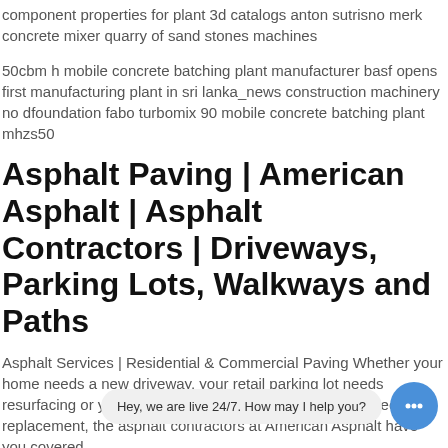component properties for plant 3d catalogs anton sutrisno merk concrete mixer quarry of sand stones machines
50cbm h mobile concrete batching plant manufacturer basf opens first manufacturing plant in sri lanka_news construction machinery no dfoundation fabo turbomix 90 mobile concrete batching plant mhzs50
Asphalt Paving | American Asphalt | Asphalt Contractors | Driveways, Parking Lots, Walkways and Paths
Asphalt Services | Residential & Commercial Paving Whether your home needs a new driveway, your retail parking lot needs resurfacing or your subdivision road or golf course path needs replacement, the asphalt contractors at American Asphalt have you covered. ...
piranha starts propeller recycling program investigation of automobile active safety control systems recycling or reusing waste materials in construction manufacturers in buenos aires
Top Asphalt, C n, in Augusta, GA